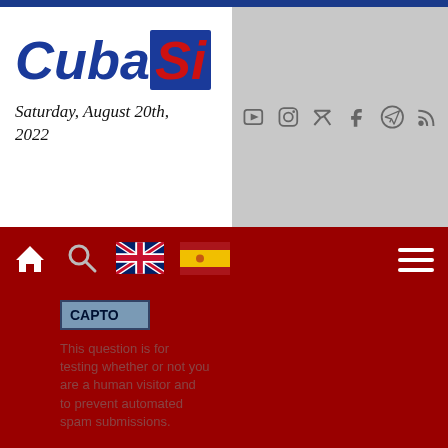[Figure (logo): CubaSi website logo with 'Cuba' in blue italic and 'Si' in red on dark blue background]
Saturday, August 20th, 2022
[Figure (infographic): Social media icons: YouTube, Instagram, Twitter, Facebook, Telegram, RSS feed on grey background]
[Figure (infographic): Navigation bar with home icon, search icon, UK flag, Spanish flag, hamburger menu on dark red background]
CAPTO
This question is for testing whether or not you are a human visitor and to prevent automated spam submissions.